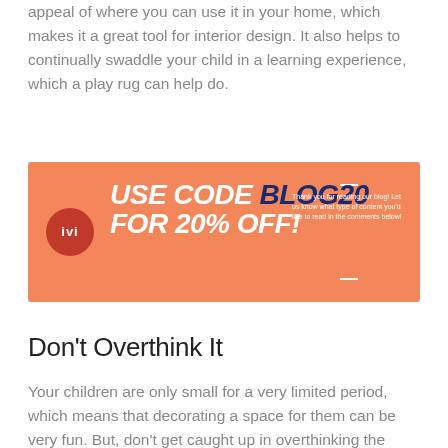appeal of where you can use it in your home, which makes it a great tool for interior design. It also helps to continually swaddle your child in a learning experience, which a play rug can help do.
[Figure (infographic): Promotional banner with salmon/orange background. Left side has a red circular logo with 'ivi' text. Center has bold italic text: 'USE CODE BLOG20 FOR 20% OFF!' in white and dark navy. Right side has small white text: 'Thank you for reading our blog! Let us know what type of content you'd like to read in the comments below!' with decorative dashes.]
Don't Overthink It
Your children are only small for a very limited period, which means that decorating a space for them can be very fun. But, don't get caught up in overthinking the